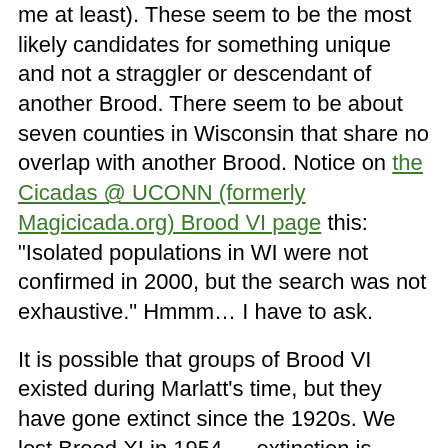me at least). These seem to be the most likely candidates for something unique and not a straggler or descendant of another Brood. There seem to be about seven counties in Wisconsin that share no overlap with another Brood. Notice on the Cicadas @ UCONN (formerly Magicicada.org) Brood VI page this: "Isolated populations in WI were not confirmed in 2000, but the search was not exhaustive." Hmmm… I have to ask.
It is possible that groups of Brood VI existed during Marlatt's time, but they have gone extinct since the 1920s. We lost Brood XI in 1954 — extinction is highly possible.
The Jim Thorp Pennsyvalnia periodical cicadas that emerged in-sync with Brood V in 2016 are an